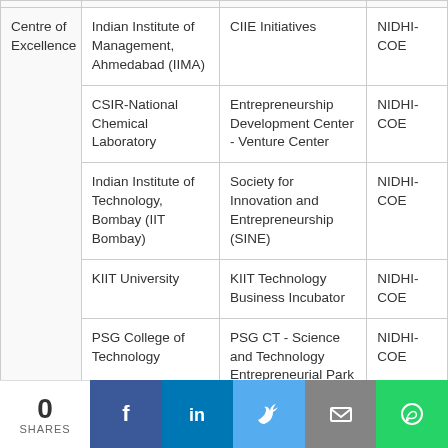|  | Institution/Host | Implementing Agency | Scheme |
| --- | --- | --- | --- |
| Centre of Excellence | Indian Institute of Management, Ahmedabad (IIMA) | CIIE Initiatives | NIDHI-COE |
|  | CSIR-National Chemical Laboratory | Entrepreneurship Development Center - Venture Center | NIDHI-COE |
|  | Indian Institute of Technology, Bombay (IIT Bombay) | Society for Innovation and Entrepreneurship (SINE) | NIDHI-COE |
|  | KIIT University | KIIT Technology Business Incubator | NIDHI-COE |
|  | PSG College of Technology | PSG CT - Science and Technology Entrepreneurial Park (PSG - STEP) | NIDHI-COE |